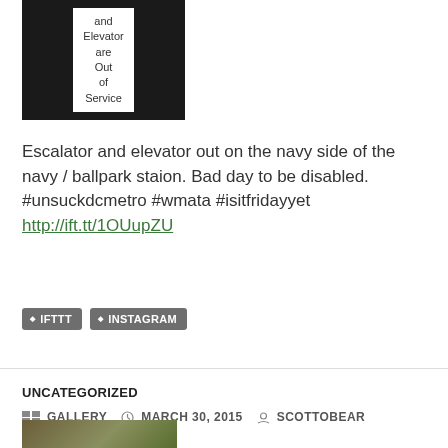[Figure (photo): Photo of a sign on black background with text about escalator and elevator being out of service]
Escalator and elevator out on the navy side of the navy / ballpark staion. Bad day to be disabled. #unsuckdcmetro #wmata #isitfridayyet http://ift.tt/1OUupZU
IFTTT
INSTAGRAM
UNCATEGORIZED
GALLERY   MARCH 30, 2015   SCOTTOBEAR   LEAVE A COMMENT
[Figure (photo): Partial photo of foliage/plant material]